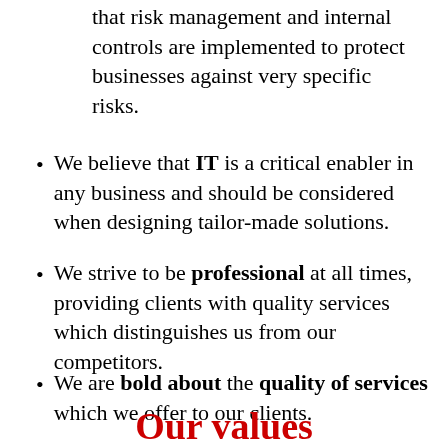that risk management and internal controls are implemented to protect businesses against very specific risks.
We believe that IT is a critical enabler in any business and should be considered when designing tailor-made solutions.
We strive to be professional at all times, providing clients with quality services which distinguishes us from our competitors.
We are bold about the quality of services which we offer to our clients.
Our values